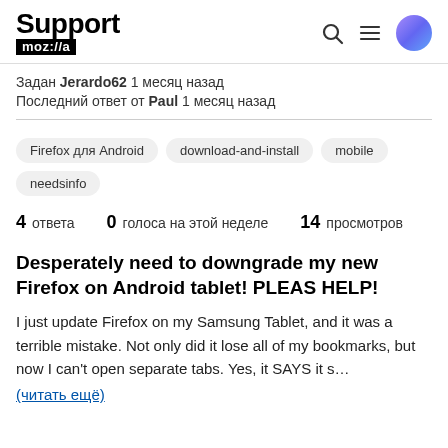Support moz://a
Задан Jerardo62 1 месяц назад
Последний ответ от Paul 1 месяц назад
Firefox для Android   download-and-install   mobile   needsinfo
4 ответа  0 голоса на этой неделе  14 просмотров
Desperately need to downgrade my new Firefox on Android tablet! PLEAS HELP!
I just update Firefox on my Samsung Tablet, and it was a terrible mistake. Not only did it lose all of my bookmarks, but now I can't open separate tabs. Yes, it SAYS it s…
(читать ещё)